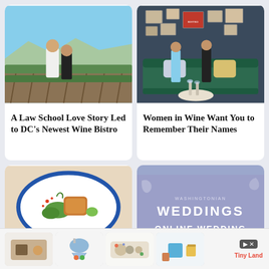[Figure (photo): A couple standing in a vineyard on a sunny day, man in white shirt, woman in black dress]
A Law School Love Story Led to DC’s Newest Wine Bistro
[Figure (photo): Two women seated on a dark green velvet sofa in a stylish room with framed art on the wall]
Women in Wine Want You to Remember Their Names
[Figure (photo): A plated food dish on a blue-rimmed white plate with vegetables and a fried item]
[Figure (other): Washingtonian Weddings Online Wedding advertisement on purple/lavender background]
[Figure (other): Advertisement banner with toy product images and TinyLand brand logo]